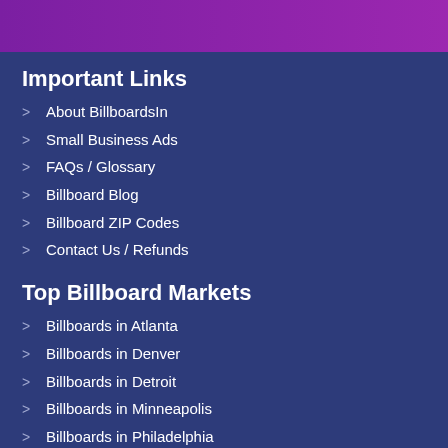Important Links
About BillboardsIn
Small Business Ads
FAQs / Glossary
Billboard Blog
Billboard ZIP Codes
Contact Us / Refunds
Top Billboard Markets
Billboards in Atlanta
Billboards in Denver
Billboards in Detroit
Billboards in Minneapolis
Billboards in Philadelphia
Billboards in Tampa
Top Transit Markets
Transit Ads in Atlanta
Transit Ads in Denver
Transit Ads in Detroit